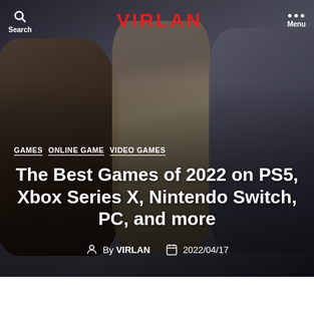VIRLAN
[Figure (photo): Hero image showing three video game characters (God of War, Horizon, and another character) against a dark background]
GAMES   ONLINE GAME   VIDEO GAMES
The Best Games of 2022 on PS5, Xbox Series X, Nintendo Switch, PC, and more
By VIRLAN   2022/04/17